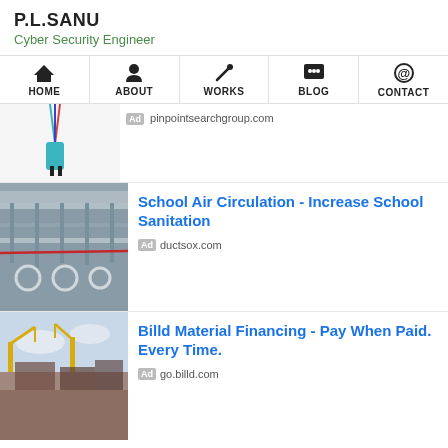P.L.SANU
Cyber Security Engineer
HOME | ABOUT | WORKS | BLOG | CONTACT
[Figure (photo): Small figurine hanging on strings, partial view at top]
Ad pinpointsearchgroup.com
[Figure (photo): Construction interior showing ceiling ducts and pipes]
School Air Circulation - Increase School Sanitation
Ad ductsox.com
[Figure (photo): Construction site with cranes and partially built structure]
Billd Material Financing - Pay When Paid. Every Time.
Ad go.billd.com